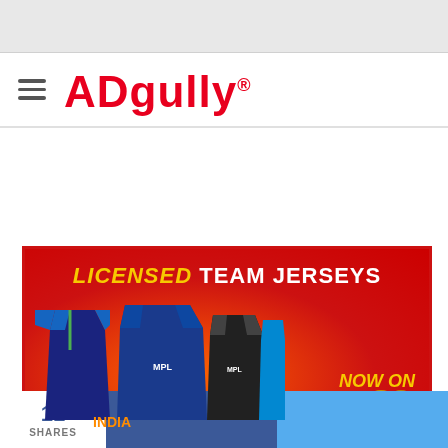[Figure (logo): Adgully logo with hamburger menu icon — red stylized 'ADgully' text with registered trademark symbol]
[Figure (photo): Advertisement banner for Licensed Team Jerseys with red background, orange gradient, cricket jerseys including India jersey, text 'LICENSED TEAM JERSEYS' and 'NOW ON']
11 SHARES